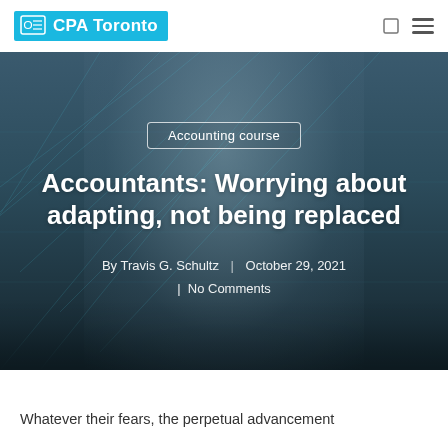CPA Toronto
[Figure (photo): A man in a dark suit speaking on stage, with a digital grid/network background overlay in teal and blue tones]
Accounting course
Accountants: Worrying about adapting, not being replaced
By Travis G. Schultz | October 29, 2021 | No Comments
Whatever their fears, the perpetual advancement